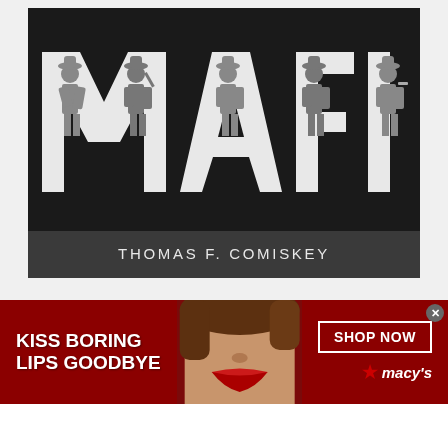[Figure (illustration): Book cover for 'MAFIA' by Thomas F. Comiskey. Dark/black background with large white block letters spelling 'MAFIA'. Silhouettes of five men in suits and fedora hats are overlaid on the letters. Below is a dark gray author name strip reading 'THOMAS F. COMISKEY' in white spaced letters.]
[Figure (other): Advertisement banner for Macy's. Dark red background with a woman's face showing red lips in the center. Left side reads 'KISS BORING LIPS GOODBYE' in white bold text. Right side shows 'SHOP NOW' button and Macy's star logo in white. Close button (x) in top right corner.]